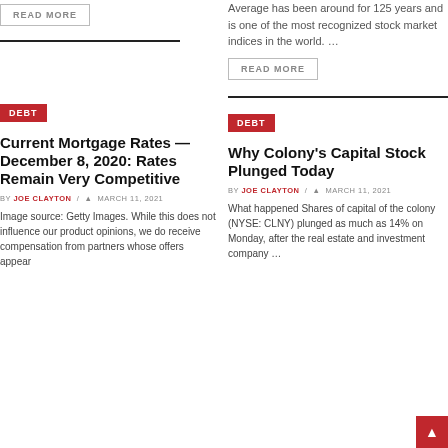READ MORE
Average has been around for 125 years and is one of the most recognized stock market indices in the world. …
READ MORE
DEBT
DEBT
Current Mortgage Rates — December 8, 2020: Rates Remain Very Competitive
Why Colony's Capital Stock Plunged Today
BY JOE CLAYTON / MARCH 11, 2021
BY JOE CLAYTON / MARCH 11, 2021
Image source: Getty Images. While this does not influence our product opinions, we do receive compensation from partners whose offers appear…
What happened Shares of capital of the colony (NYSE: CLNY) plunged as much as 14% on Monday, after the real estate and investment company …